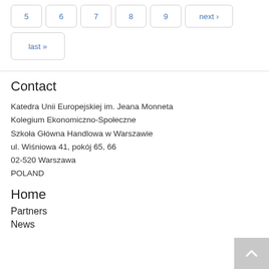5  6  7  8  9  next ›  last »
Contact
Katedra Unii Europejskiej im. Jeana Monneta
Kolegium Ekonomiczno-Społeczne
Szkoła Główna Handlowa w Warszawie
ul. Wiśniowa 41, pokój 65, 66
02-520 Warszawa
POLAND
Home
Partners
News